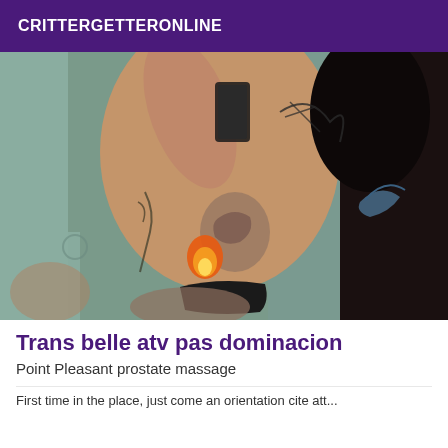CRITTERGETTERONLINE
[Figure (photo): A person with tattoos on their back and arms, photographed from behind in a mirror selfie pose, wearing black underwear, with dark hair.]
Trans belle atv pas dominacion
Point Pleasant prostate massage
First time in the place, just come an orientation cite att...